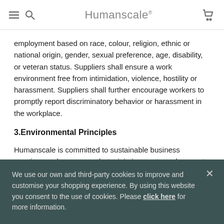Humanscale
employment based on race, colour, religion, ethnic or national origin, gender, sexual preference, age, disability, or veteran status. Suppliers shall ensure a work environment free from intimidation, violence, hostility or harassment. Suppliers shall further encourage workers to promptly report discriminatory behavior or harassment in the workplace.
3.Environmental Principles
Humanscale is committed to sustainable business practices and processes that minimise waste and prevent pollution
We use our own and third-party cookies to improve and customise your shopping experience. By using this website you consent to the use of cookies. Please click here for more information.